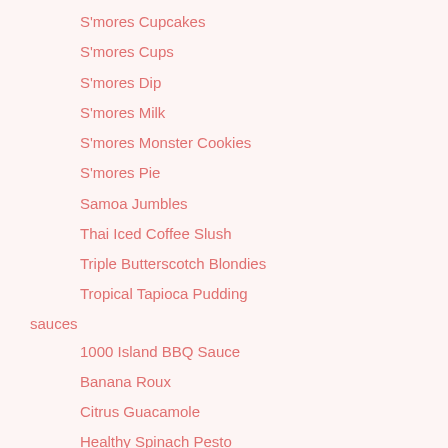S'mores Cupcakes
S'mores Cups
S'mores Dip
S'mores Milk
S'mores Monster Cookies
S'mores Pie
Samoa Jumbles
Thai Iced Coffee Slush
Triple Butterscotch Blondies
Tropical Tapioca Pudding
sauces
1000 Island BBQ Sauce
Banana Roux
Citrus Guacamole
Healthy Spinach Pesto
Mushroom Umami Pasta Sauce